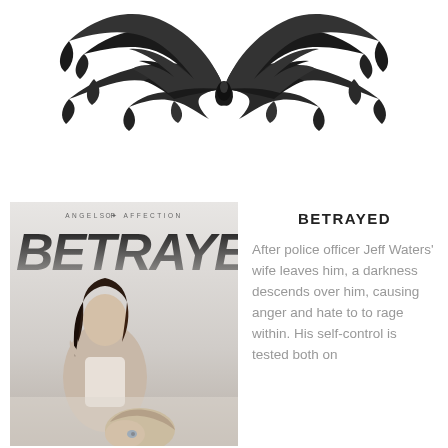[Figure (illustration): Dark metallic angel wings spread wide on white background, centered at top of page]
[Figure (photo): Book cover for 'Betrayed' from the Angels of Affection series. Shows the word BETRAYED in large bold italic black text over a photo of a young woman sitting up looking stern and a man lying down with head turned, both on white bedding.]
BETRAYED
After police officer Jeff Waters' wife leaves him, a darkness descends over him, causing anger and hate to to rage within. His self-control is tested both on